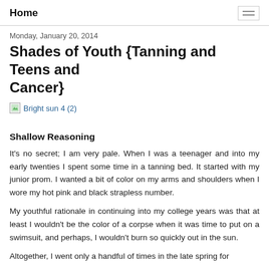Home
Monday, January 20, 2014
Shades of Youth {Tanning and Teens and Cancer}
[Figure (illustration): Broken image placeholder with link text: Bright sun 4 (2)]
Shallow Reasoning
It's no secret; I am very pale. When I was a teenager and into my early twenties I spent some time in a tanning bed. It started with my junior prom. I wanted a bit of color on my arms and shoulders when I wore my hot pink and black strapless number.
My youthful rationale in continuing into my college years was that at least I wouldn't be the color of a corpse when it was time to put on a swimsuit, and perhaps, I wouldn't burn so quickly out in the sun.
Altogether, I went only a handful of times in the late spring for